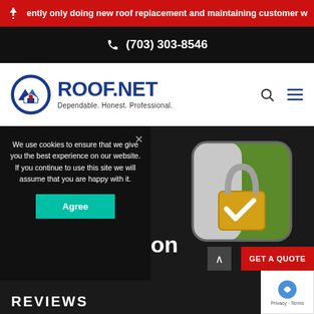ently only doing new roof replacement and maintaining customer w
(703) 303-8546
[Figure (logo): ROOF.NET logo with badge icon and tagline: Dependable. Honest. Professional.]
We use cookies to ensure that we give you the best experience on our website. If you continue to use this site we will assume that you are happy with it.
Agree
[Figure (illustration): Security padlock icon on green/grey rounded square background with white checkmark]
GET A QUOTE
REVIEWS
This content requires Adobe